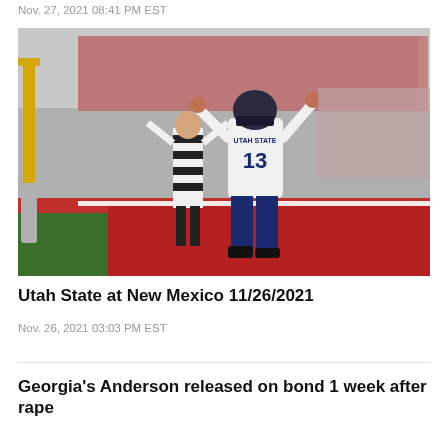Nov. 27, 2021 08:41 PM EST
[Figure (photo): Utah State football player wearing jersey number 13 celebrating in the end zone with arms raised, a referee visible behind, at a stadium with red and blue field colors and crowd in stands.]
Utah State at New Mexico 11/26/2021
Nov. 26, 2021 03:03 PM EST
Georgia's Anderson released on bond 1 week after rape